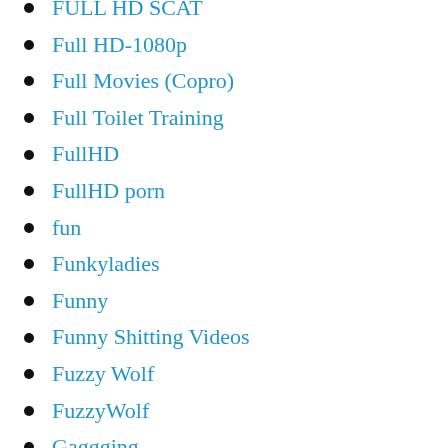FULL HD SCAT
Full HD-1080p
Full Movies (Copro)
Full Toilet Training
FullHD
FullHD porn
fun
Funkyladies
Funny
Funny Shitting Videos
Fuzzy Wolf
FuzzyWolf
Gaggging
gagging and puke
Gape
Gape ass
Gaping